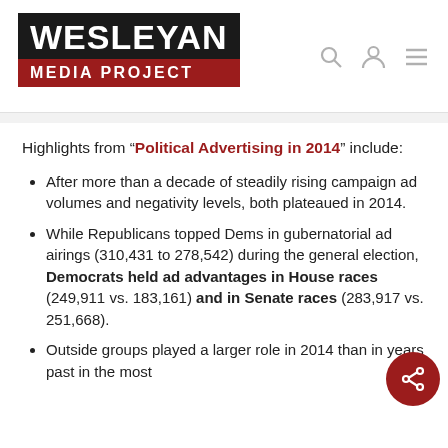[Figure (logo): Wesleyan Media Project logo — black block with WESLEYAN in white, red block with MEDIA PROJECT in white]
Highlights from “Political Advertising in 2014” include:
After more than a decade of steadily rising campaign ad volumes and negativity levels, both plateaued in 2014.
While Republicans topped Dems in gubernatorial ad airings (310,431 to 278,542) during the general election, Democrats held ad advantages in House races (249,911 vs. 183,161) and in Senate races (283,917 vs. 251,668).
Outside groups played a larger role in 2014 than in years past in the most